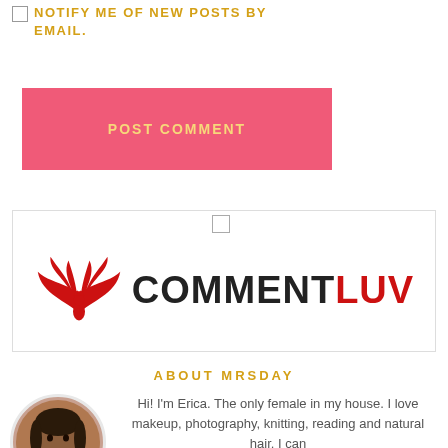NOTIFY ME OF NEW POSTS BY EMAIL.
POST COMMENT
[Figure (logo): CommentLuv logo with red phoenix wings and text COMMENTLUV where COMMENT is black and LUV is red]
ABOUT MRSDAY
[Figure (photo): Circular portrait photo of Erica, a woman posing with hand near face]
Hi! I'm Erica. The only female in my house. I love makeup, photography, knitting, reading and natural hair. I can